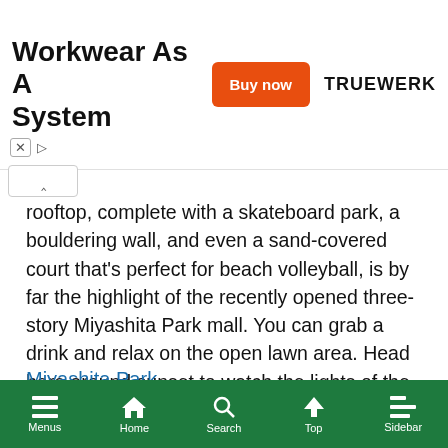[Figure (other): Advertisement banner: 'Workwear As A System' with orange 'Buy now' button and TRUEWERK brand logo, with close (X) and play controls at bottom left]
rooftop, complete with a skateboard park, a bouldering wall, and even a sand-covered court that's perfect for beach volleyball, is by far the highlight of the recently opened three-story Miyashita Park mall. You can grab a drink and relax on the open lawn area. Head here around sunset to watch the lights of the Shibuya skyline flicker on through the park's metal arches. On the ground level, you can enjoy some of the local nightlife at one of the many izakaya of Shibuya Yokocho.
Miyashita Park
[Figure (screenshot): Green bottom navigation bar with icons: Menus, Home, Search, Top, Sidebar]